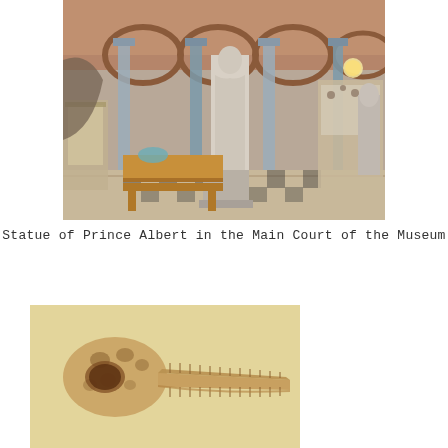[Figure (photo): Interior of a museum's main court showing a large stone statue of a standing man in Victorian dress on a plinth, with Romanesque arched columns, wooden display cases, and specimen exhibits visible in the background. Tiled floor in black and white.]
Statue of Prince Albert in the Main Court of the Museum
[Figure (photo): Vintage sepia illustration or photograph on yellowed paper showing a dinosaur or reptile skull with a long toothy beak/snout, visible eye socket, and spotted/mottled markings on what appears to be a pterosaur or ichthyosaur skull specimen.]